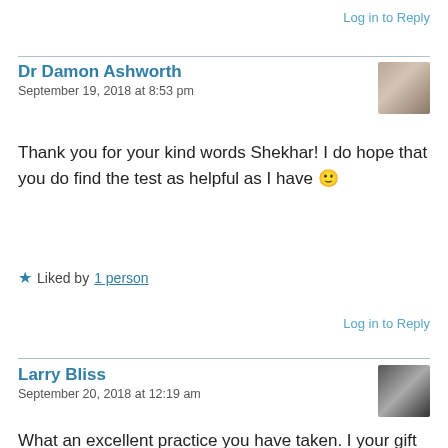Log in to Reply
Dr Damon Ashworth
September 19, 2018 at 8:53 pm
Thank you for your kind words Shekhar! I do hope that you do find the test as helpful as I have 🙂
★ Liked by 1 person
Log in to Reply
Larry Bliss
September 20, 2018 at 12:19 am
What an excellent practice you have taken. I your gift